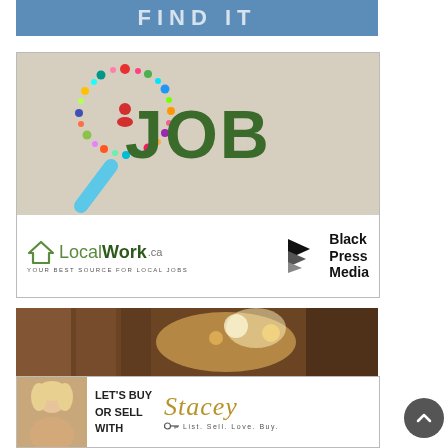[Figure (infographic): Blue banner with text FIND IT in white letters]
[Figure (infographic): LocalWork.ca job search advertisement with magnifying glass shaped from colorful icons, text JOB in large green letters, LocalWork.ca logo and Black Press Media logo at the bottom]
[Figure (photo): Interior photo showing wooden ceiling with warm lighting]
[Figure (infographic): Real estate agent Stacey advertisement — LET'S BUY OR SELL WITH Stacey — List, Sell, Love, Buy]